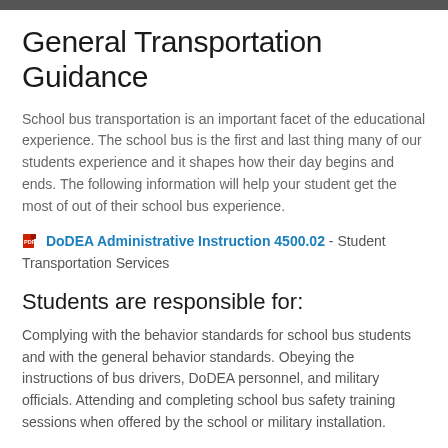General Transportation Guidance
School bus transportation is an important facet of the educational experience. The school bus is the first and last thing many of our students experience and it shapes how their day begins and ends. The following information will help your student get the most of out of their school bus experience.
DoDEA Administrative Instruction 4500.02 - Student Transportation Services
Students are responsible for:
Complying with the behavior standards for school bus students and with the general behavior standards. Obeying the instructions of bus drivers, DoDEA personnel, and military officials. Attending and completing school bus safety training sessions when offered by the school or military installation.